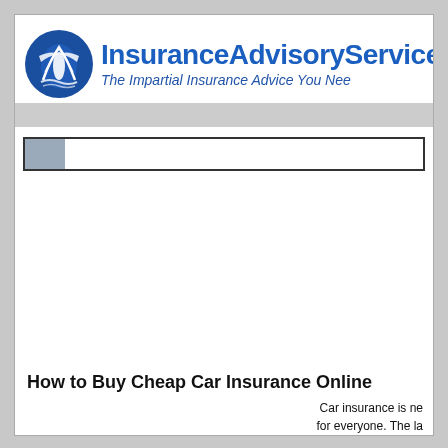[Figure (logo): InsuranceAdvisoryService.com logo with circular blue globe/eagle graphic on left, bold blue site name text, and italic blue tagline 'The Impartial Insurance Advice You Need']
How to Buy Cheap Car Insurance Online
Car insurance is needed for everyone. The la...